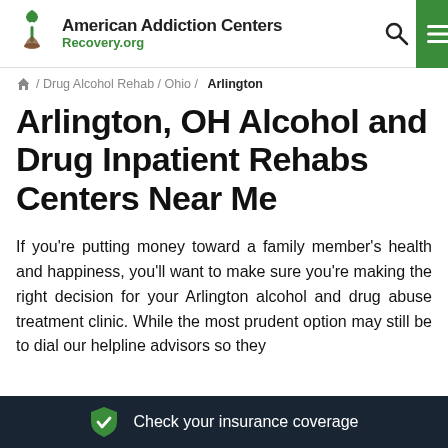American Addiction Centers Recovery.org
/ Drug Alcohol Rehab / Ohio / Arlington
Arlington, OH Alcohol and Drug Inpatient Rehabs Centers Near Me
If you're putting money toward a family member's health and happiness, you'll want to make sure you're making the right decision for your Arlington alcohol and drug abuse treatment clinic. While the most prudent option may still be to dial our helpline advisors so they
Check your insurance coverage